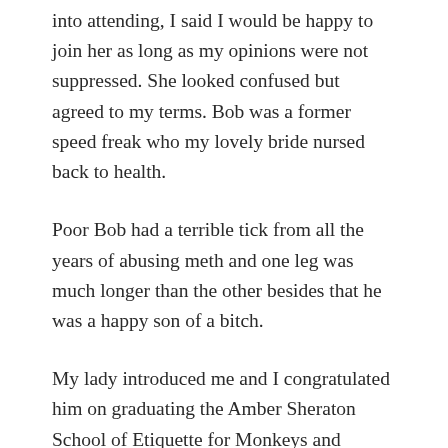into attending, I said I would be happy to join her as long as my opinions were not suppressed. She looked confused but agreed to my terms. Bob was a former speed freak who my lovely bride nursed back to health.
Poor Bob had a terrible tick from all the years of abusing meth and one leg was much longer than the other besides that he was a happy son of a bitch.
My lady introduced me and I congratulated him on graduating the Amber Sheraton School of Etiquette for Monkeys and Morons (A.S.S.E.M.M). He kept referring to my wife as a miracle as a matter of fact he referred to almost everything as a miracle. The guy singing was a miracle, the fact that he was standing there was a miracle; the guy next to him was a miracle and so on. Something happens in those 12 step rooms where